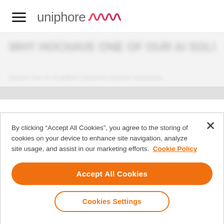[Figure (logo): Uniphore logo with hamburger menu icon on the left and the word 'uniphore' followed by a waveform SVG mark in pink/red gradient]
[Figure (screenshot): Blurred/obscured hero section of the Uniphore website with large blurred text and a grey bar below]
By clicking “Accept All Cookies”, you agree to the storing of cookies on your device to enhance site navigation, analyze site usage, and assist in our marketing efforts.  Cookie Policy
Accept All Cookies
Cookies Settings